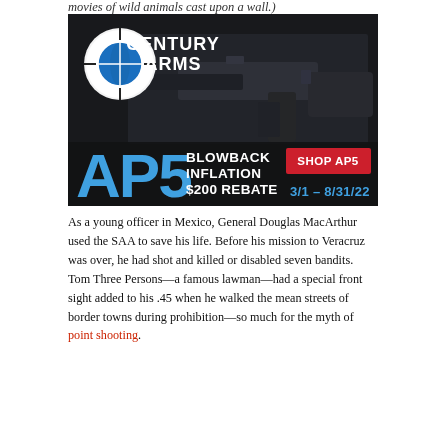movies of wild animals cast upon a wall.)
[Figure (illustration): Century Arms advertisement featuring AP5 firearm with text: AP5 BLOWBACK INFLATION $200 REBATE, SHOP AP5, 3/1 - 8/31/22]
As a young officer in Mexico, General Douglas MacArthur used the SAA to save his life. Before his mission to Veracruz was over, he had shot and killed or disabled seven bandits. Tom Three Persons—a famous lawman—had a special front sight added to his .45 when he walked the mean streets of border towns during prohibition—so much for the myth of point shooting.